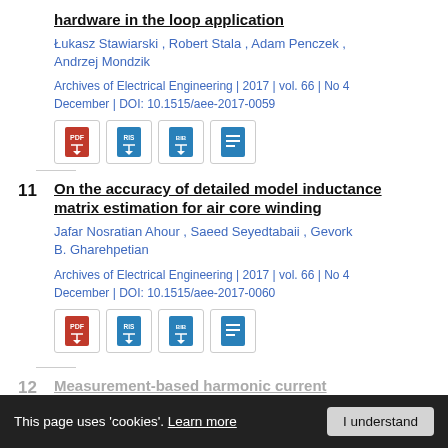hardware in the loop application
Łukasz Stawiarski , Robert Stala , Adam Penczek , Andrzej Mondzik
Archives of Electrical Engineering | 2017 | vol. 66 | No 4 December | DOI: 10.1515/aee-2017-0059
[Figure (other): Four document/action icon buttons: PDF, RIS bibliography, BIB bibliography, and text/details]
11
On the accuracy of detailed model inductance matrix estimation for air core winding
Jafar Nosratian Ahour , Saeed Seyedtabaii , Gevork B. Gharehpetian
Archives of Electrical Engineering | 2017 | vol. 66 | No 4 December | DOI: 10.1515/aee-2017-0060
[Figure (other): Four document/action icon buttons: PDF, RIS bibliography, BIB bibliography, and text/details]
12
Measurement-based harmonic current modeling of mobile storage for power quality
This page uses 'cookies'. Learn more  I understand